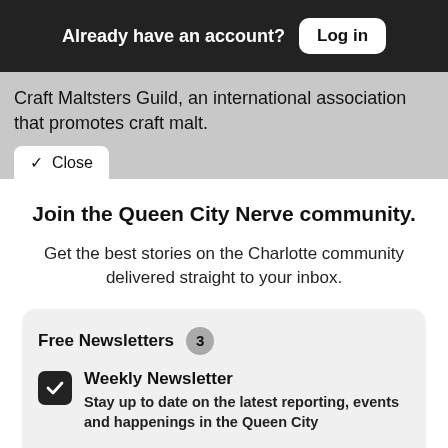Already have an account? Log in
Craft Maltsters Guild, an international association that promotes craft malt.
✓ Close
Join the Queen City Nerve community.
Get the best stories on the Charlotte community delivered straight to your inbox.
Free Newsletters 3
Weekly Newsletter — Stay up to date on the latest reporting, events and happenings in the Queen City
City Council Quickies